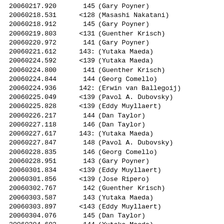| Date/ID | Value | Observer |
| --- | --- | --- |
| 20060217.920 | 145 | (Gary Poyner) |
| 20060218.531 | <128 | (Masashi Nakatani) |
| 20060218.912 | 145 | (Gary Poyner) |
| 20060219.803 | <131 | (Guenther Krisch) |
| 20060220.972 | 141 | (Gary Poyner) |
| 20060221.612 | 143: | (Yutaka Maeda) |
| 20060224.592 | <139 | (Yutaka Maeda) |
| 20060224.800 | 141 | (Guenther Krisch) |
| 20060224.844 | 144 | (Georg Comello) |
| 20060224.936 | 142: | (Erwin van Ballegoij) |
| 20060225.049 | <139 | (Pavol A. Dubovsky) |
| 20060225.828 | <139 | (Eddy Muyllaert) |
| 20060226.217 | 144 | (Dan Taylor) |
| 20060227.118 | 146 | (Dan Taylor) |
| 20060227.617 | 143: | (Yutaka Maeda) |
| 20060227.847 | 148 | (Pavol A. Dubovsky) |
| 20060228.835 | 146 | (Georg Comello) |
| 20060228.951 | 143 | (Gary Poyner) |
| 20060301.834 | <139 | (Eddy Muyllaert) |
| 20060301.856 | <139 | (Jose Ripero) |
| 20060302.767 | 142 | (Guenther Krisch) |
| 20060303.587 | 143 | (Yutaka Maeda) |
| 20060303.897 | <143 | (Eddy Muyllaert) |
| 20060304.076 | 145 | (Dan Taylor) |
| 20060304.603 | 144 | (Yutaka Maeda) |
| 20060304.857 | 143 | (Eddy Muyllaert) |
| 20060304.928 | 142 | (Gary Poyner) |
| 20060305.097 | 144 | (Dan Taylor) |
| 20060305.453 | 14.59V | (Hiroyuki Maehara) |
| 20060305.456 | 14.92B | (Hiroyuki Maehara) |
| 20060305.544 | <119 | (Masashi Nakatani) |